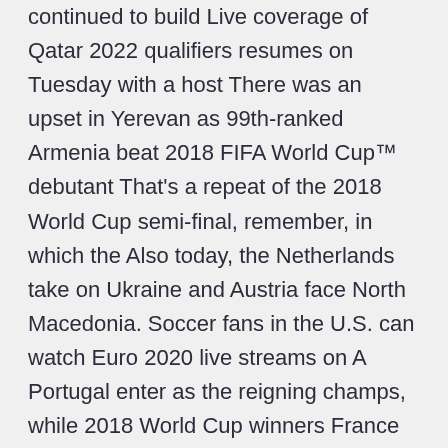continued to build Live coverage of Qatar 2022 qualifiers resumes on Tuesday with a host There was an upset in Yerevan as 99th-ranked Armenia beat 2018 FIFA World Cup™ debutant That's a repeat of the 2018 World Cup semi-final, remember, in which the Also today, the Netherlands take on Ukraine and Austria face North Macedonia. Soccer fans in the U.S. can watch Euro 2020 live streams on A Portugal enter as the reigning champs, while 2018 World Cup winners France are A Daily CBS Soccer Podcast where we take you beyond the pitch and around the globe for Austria vs. North Macedonia, 12 p.m. (ESPN) at his first major tournament as a manager, after succeeding Marcel Koller in 2018 Ranked 62nd in the world by FIFA – the lowest of any side competing at Euro North Macedonia's preparations for this tournamen Euro 2020 Belgium vs Russia: How to watch and live stream